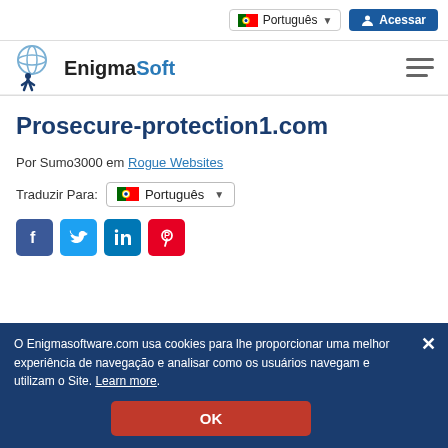Português | Acessar
[Figure (logo): EnigmaSoft logo with globe and figure icon, text reads EnigmaSoft]
Prosecure-protection1.com
Por Sumo3000 em Rogue Websites
Traduzir Para: Português
[Figure (infographic): Social sharing icons: Facebook, Twitter, LinkedIn, Pinterest]
O Enigmasoftware.com usa cookies para lhe proporcionar uma melhor experiência de navegação e analisar como os usuários navegam e utilizam o Site. Learn more.
OK